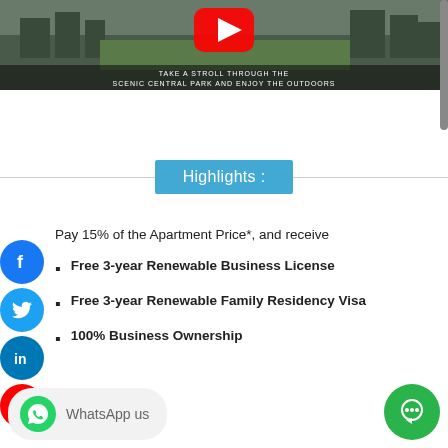[Figure (screenshot): Video thumbnail showing scenic central park aerial view with YouTube play button overlay and text 'TAKE A STROLL THROUGH THE SCENIC CENTRAL PARK AND ENJOY THE OUTDOORS']
Highlights :
Pay 15% of the Apartment Price*, and receive
Free 3-year Renewable Business License
Free 3-year Renewable Family Residency Visa
100% Business Ownership
[Figure (screenshot): WhatsApp us button at bottom left]
[Figure (screenshot): Green chat button at bottom right]